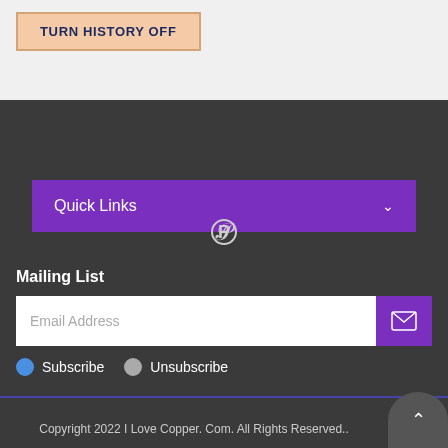[Figure (screenshot): Button labeled TURN HISTORY OFF with peach/salmon background and dark navy bold text, bordered in tan/orange]
Quick Links
[Figure (other): Pinterest icon (P logo) in light gray on dark background]
Mailing List
[Figure (other): Email address input field with placeholder text 'Email Address' and a purple send/mail button on the right]
Subscribe   Unsubscribe
Copyright 2022 I Love Copper. Com. All Rights Reserved..